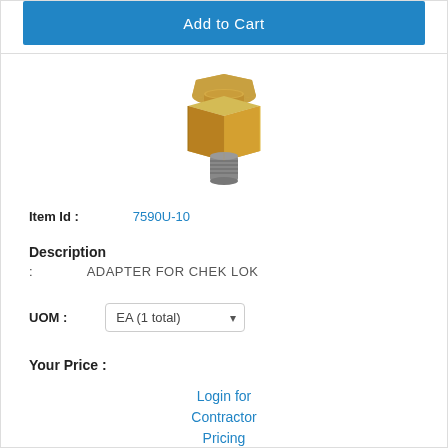Add to Cart
[Figure (photo): Brass adapter fitting for Chek Lok, gold/bronze colored hex body with threaded ends]
Item Id : 7590U-10
Description
: ADAPTER FOR CHEK LOK
UOM : EA (1 total)
Your Price :
Login for Contractor Pricing